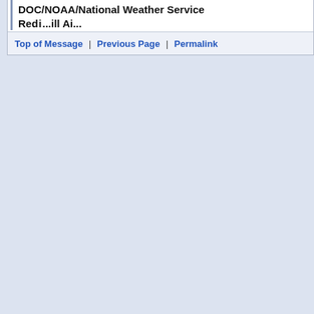DOC/NOAA/National Weather Service
Re...ill Ai...
Top of Message | Previous Page | Permalink